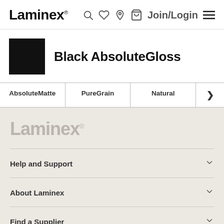Laminex® — navigation: search, wishlist, location, cart, Join/Login, menu
Black AbsoluteGloss
| AbsoluteMatte | PureGrain | Natural | > |
| --- | --- | --- | --- |
Laminex®
Help and Support
About Laminex
Find a Supplier
Sample Ordering
Chat offline